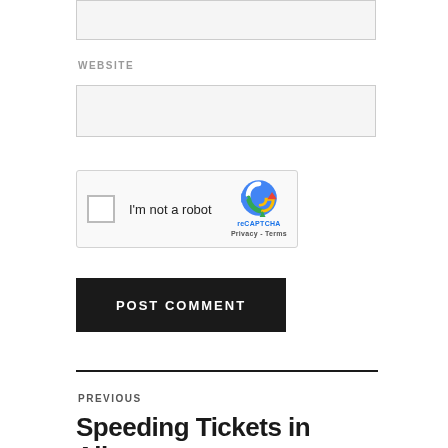[Figure (screenshot): Partial input field at top of page (cut off)]
WEBSITE
[Figure (screenshot): Website text input field]
[Figure (screenshot): reCAPTCHA widget with checkbox 'I'm not a robot' and reCAPTCHA logo, Privacy - Terms]
POST COMMENT
PREVIOUS
Speeding Tickets in Albany